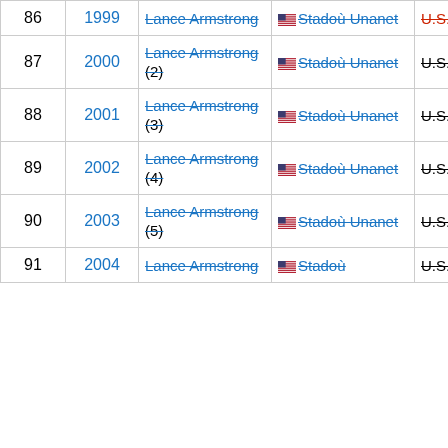| # | Year | Winner | Country/Team | Sponsor |
| --- | --- | --- | --- | --- |
| 86 | 1999 | Lance Armstrong | 🇺🇸 Stadoù Unanet | U.S. Postal |
| 87 | 2000 | Lance Armstrong (2) | 🇺🇸 Stadoù Unanet | U.S. Postal |
| 88 | 2001 | Lance Armstrong (3) | 🇺🇸 Stadoù Unanet | U.S. Postal |
| 89 | 2002 | Lance Armstrong (4) | 🇺🇸 Stadoù Unanet | U.S. Postal |
| 90 | 2003 | Lance Armstrong (5) | 🇺🇸 Stadoù Unanet | U.S. Postal |
| 91 | 2004 | Lance Armstrong... | 🇺🇸 Stadoù... | U.S. Postal... |